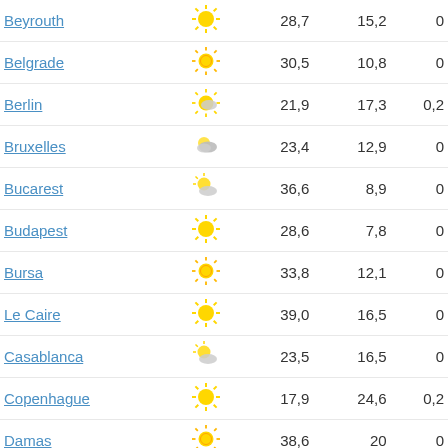| City | Weather | Max | Min | Rain |
| --- | --- | --- | --- | --- |
| Beyrouth | sunny | 28,7 | 15,2 | 0 |
| Belgrade | sunny-hot | 30,5 | 10,8 | 0 |
| Berlin | partly-cloudy | 21,9 | 17,3 | 0,2 |
| Bruxelles | cloudy | 23,4 | 12,9 | 0 |
| Bucarest | partly-cloudy | 36,6 | 8,9 | 0 |
| Budapest | sunny | 28,6 | 7,8 | 0 |
| Bursa | sunny-hot | 33,8 | 12,1 | 0 |
| Le Caire | sunny | 39,0 | 16,5 | 0 |
| Casablanca | partly-cloudy | 23,5 | 16,5 | 0 |
| Copenhague | sunny | 17,9 | 24,6 | 0,2 |
| Damas | sunny-hot | 38,6 | 20 | 0 |
| Dnipropetrovsk | sunny | 32,8 | 22 | 0 |
| Donetsk | sunny-hot | 33,6 | 21,3 | 0 |
| Dublin | sunny | 15,9 | 18,7 | 0 |
| Gaziantep | sunny | 35,8 | 23,3 | 0 |
| Hambourg | sunny-hot | 20,1 | 9,9 | 0,2 |